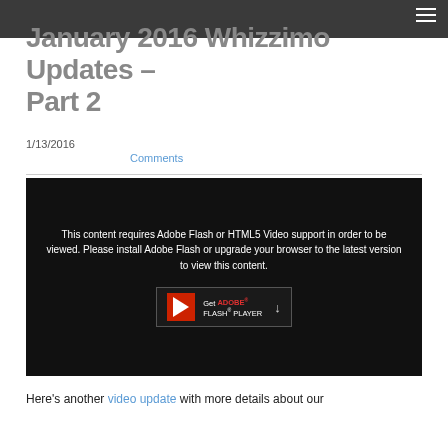January 2016 Whizzimo Updates – Part 2
1/13/2016
Comments
[Figure (screenshot): Black video player area showing Adobe Flash fallback message: 'This content requires Adobe Flash or HTML5 Video support in order to be viewed. Please install Adobe Flash or upgrade your browser to the latest version to view this content.' with a 'Get Adobe Flash Player' button below.]
Here's another video update with more details about our